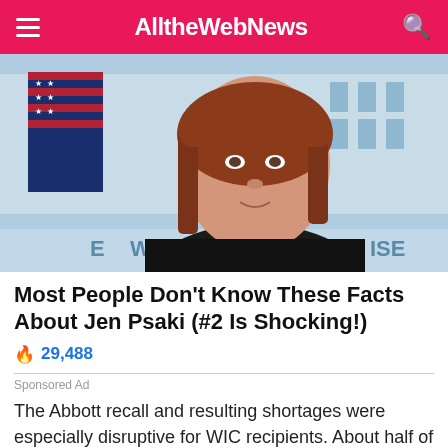AlltheWebNews
[Figure (photo): Woman with reddish-brown bob haircut speaking at a White House podium briefing room, with American flag and White House columns visible in the background.]
Most People Don't Know These Facts About Jen Psaki (#2 Is Shocking!)
🔥 29,488
Sponsored Ad
The Abbott recall and resulting shortages were especially disruptive for WIC recipients. About half of all babies born in the U.S. qualify for WIC, which serves low-income families. Many of these households don't have the time or